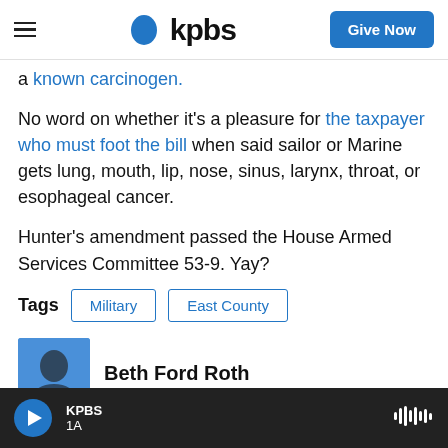KPBS — Give Now
a known carcinogen.
No word on whether it's a pleasure for the taxpayer who must foot the bill when said sailor or Marine gets lung, mouth, lip, nose, sinus, larynx, throat, or esophageal cancer.
Hunter's amendment passed the House Armed Services Committee 53-9. Yay?
Tags  Military  East County
Beth Ford Roth
KPBS 1A